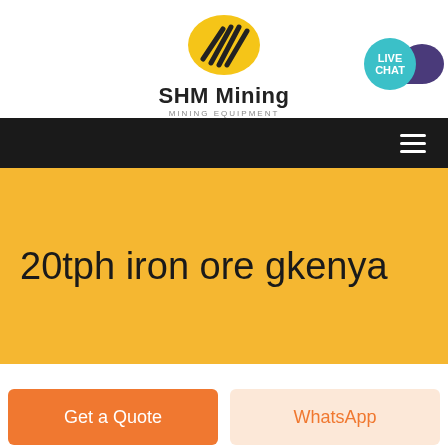[Figure (logo): SHM Mining logo — yellow oval with black diagonal lines, brand name 'SHM Mining' and subtitle 'MINING EQUIPMENT']
[Figure (other): Live Chat badge — teal circle with 'LIVE CHAT' text and purple speech bubble behind]
[Figure (other): Black navigation bar with hamburger menu icon (three white lines) on the right]
20tph iron ore gkenya
[Figure (other): Get a Quote button (orange) and WhatsApp button (light peach/orange text)]